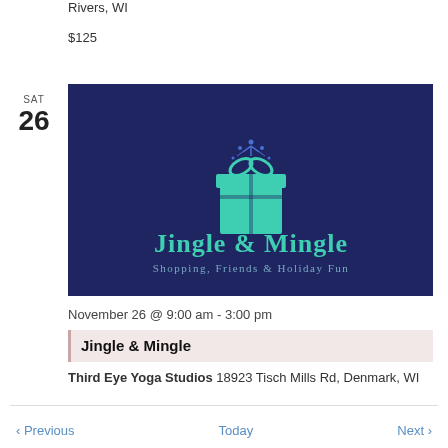Rivers, WI
$125
SAT
26
[Figure (logo): Jingle & Mingle event logo on dark navy background. Shows a teal gift box with decorative bow on top, text 'Jingle & Mingle' in teal below, and subtitle 'Shopping, Friends & Holiday Fun' in lighter teal.]
November 26 @ 9:00 am - 3:00 pm
Jingle & Mingle
Third Eye Yoga Studios 18923 Tisch Mills Rd, Denmark, WI
< Previous   Today   Next >